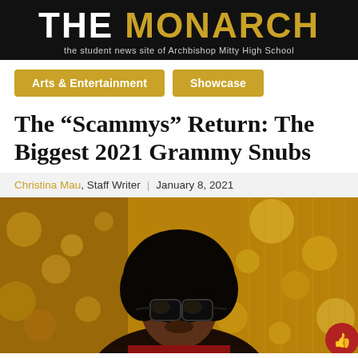THE MONARCH — the student news site of Archbishop Mitty High School
Arts & Entertainment
Showcase
The “Scammys” Return: The Biggest 2021 Grammy Snubs
Christina Mau, Staff Writer | January 8, 2021
[Figure (photo): A person with a large natural afro hairstyle wearing dark oversized sunglasses, photographed against a warm golden bokeh background. The subject appears to be The Weeknd.]